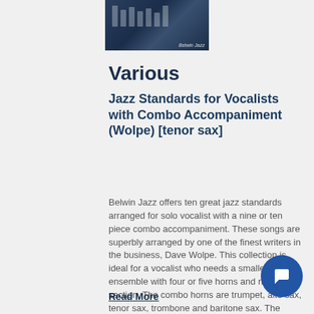[Figure (photo): Album/book cover image showing jazz musicians in dark blue tones with 'Belwin Jazz' text]
Various
Jazz Standards for Vocalists with Combo Accompaniment (Wolpe) [tenor sax]
Belwin Jazz offers ten great jazz standards arranged for solo vocalist with a nine or ten piece combo accompaniment. These songs are superbly arranged by one of the finest writers in the business, Dave Wolpe. This collection is ideal for a vocalist who needs a smaller ensemble with four or five horns and rhythm section. The combo horns are trumpet, alto sax, tenor sax, trombone and baritone sax. The baritone sax part adds additional color to the texture but is optional. The rhythm section is scor...
Read More